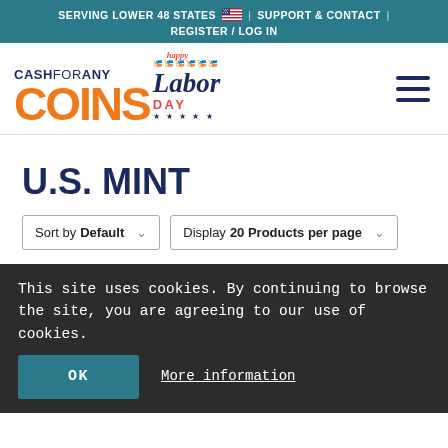SERVING LOWER 48 STATES 🇺🇸 | SUPPORT & CONTACT | REGISTER / LOG IN
[Figure (logo): CashForAnyCoins logo with Happy Labor Day graphic]
U.S. MINT
Sort by Default | Display 20 Products per page
This site uses cookies. By continuing to browse the site, you are agreeing to our use of cookies. OK More information